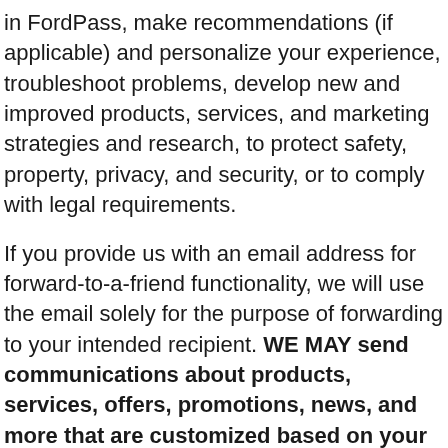in FordPass, make recommendations (if applicable) and personalize your experience, troubleshoot problems, develop new and improved products, services, and marketing strategies and research, to protect safety, property, privacy, and security, or to comply with legal requirements.
If you provide us with an email address for forward-to-a-friend functionality, we will use the email solely for the purpose of forwarding to your intended recipient. WE MAY send communications about products, services, offers, promotions, news, and more that are customized based on your personal information, including your location, speed, and driving characteristics.